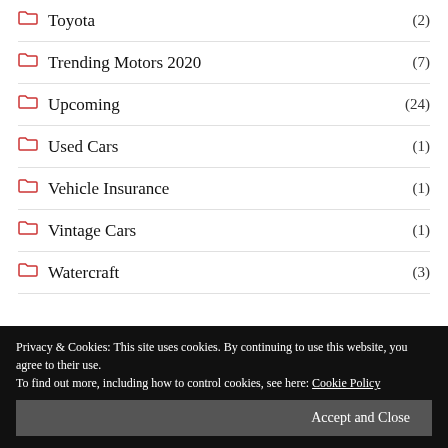Toyota (2)
Trending Motors 2020 (7)
Upcoming (24)
Used Cars (1)
Vehicle Insurance (1)
Vintage Cars (1)
Watercraft (3)
Terms of Service
Privacy Statement
Privacy & Cookies: This site uses cookies. By continuing to use this website, you agree to their use. To find out more, including how to control cookies, see here: Cookie Policy